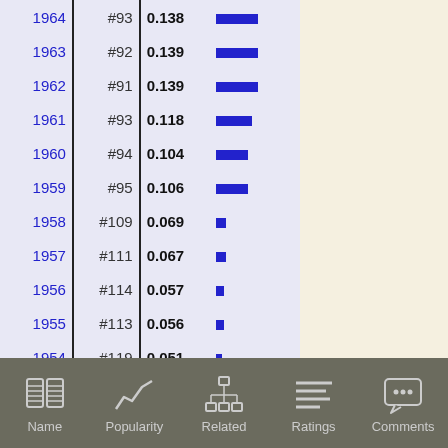| Year | Rank | Value | Bar |
| --- | --- | --- | --- |
| 1964 | #93 | 0.138 |  |
| 1963 | #92 | 0.139 |  |
| 1962 | #91 | 0.139 |  |
| 1961 | #93 | 0.118 |  |
| 1960 | #94 | 0.104 |  |
| 1959 | #95 | 0.106 |  |
| 1958 | #109 | 0.069 |  |
| 1957 | #111 | 0.067 |  |
| 1956 | #114 | 0.057 |  |
| 1955 | #113 | 0.056 |  |
| 1954 | #119 | 0.051 |  |
| 1953 | #140 | 0.033 |  |
| 1952 | #160 | 0.021 |  |
Name | Popularity | Related | Ratings | Comments